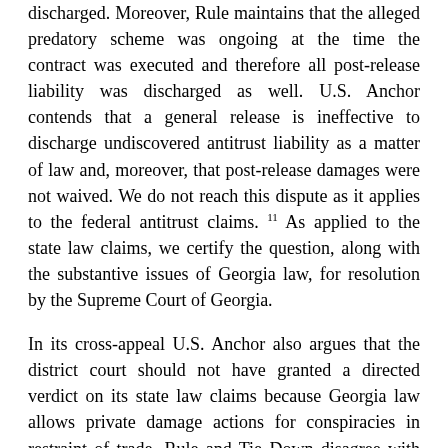discharged. Moreover, Rule maintains that the alleged predatory scheme was ongoing at the time the contract was executed and therefore all post-release liability was discharged as well. U.S. Anchor contends that a general release is ineffective to discharge undiscovered antitrust liability as a matter of law and, moreover, that post-release damages were not waived. We do not reach this dispute as it applies to the federal antitrust claims. 11 As applied to the state law claims, we certify the question, along with the substantive issues of Georgia law, for resolution by the Supreme Court of Georgia.
In its cross-appeal U.S. Anchor also argues that the district court should not have granted a directed verdict on its state law claims because Georgia law allows private damage actions for conspiracies in restraint of trade. Rule and Tie Down disagree with U.S. Anchor's interpretation of Georgia law.